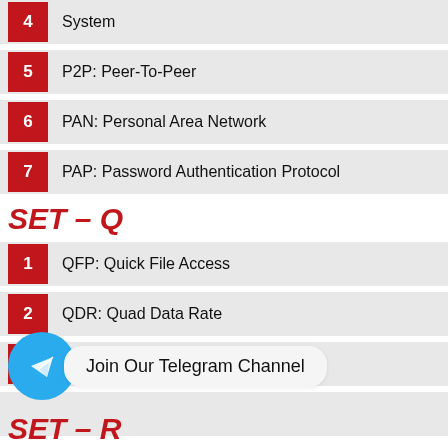4 System
5 P2P: Peer-To-Peer
6 PAN: Personal Area Network
7 PAP: Password Authentication Protocol
SET – Q
1 QFP: Quick File Access
2 QDR: Quad Data Rate
3 QFP: Quad Flat Package
4 (partially obscured)
[Figure (illustration): Telegram channel join button overlay with blue circle icon and white paper plane, and speech bubble saying 'Join Our Telegram Channel']
SET – R